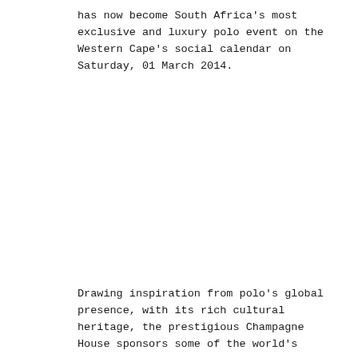has now become South Africa's most exclusive and luxury polo event on the Western Cape's social calendar on Saturday, 01 March 2014.
Drawing inspiration from polo's global presence, with its rich cultural heritage, the prestigious Champagne House sponsors some of the world's